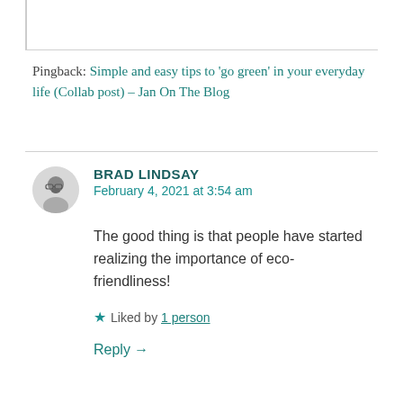Pingback: Simple and easy tips to 'go green' in your everyday life (Collab post) – Jan On The Blog
BRAD LINDSAY
February 4, 2021 at 3:54 am
The good thing is that people have started realizing the importance of eco-friendliness!
Liked by 1 person
Reply →